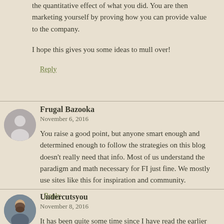the quantitative effect of what you did. You are then marketing yourself by proving how you can provide value to the company.
I hope this gives you some ideas to mull over!
Reply
Frugal Bazooka
November 6, 2016
You raise a good point, but anyone smart enough and determined enough to follow the strategies on this blog doesn’t really need that info. Most of us understand the paradigm and math necessary for FI just fine. We mostly use sites like this for inspiration and community.
Reply
Undercutsyou
November 8, 2016
It has been quite some time since I have read the earlier posts. Yet, if I recall correctly, mmm does push you to gain the education to advance in tech or